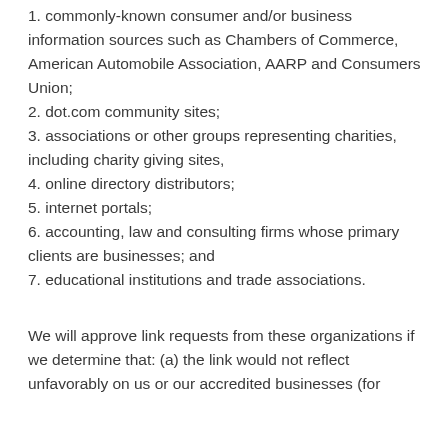1. commonly-known consumer and/or business information sources such as Chambers of Commerce, American Automobile Association, AARP and Consumers Union;
2. dot.com community sites;
3. associations or other groups representing charities, including charity giving sites,
4. online directory distributors;
5. internet portals;
6. accounting, law and consulting firms whose primary clients are businesses; and
7. educational institutions and trade associations.
We will approve link requests from these organizations if we determine that: (a) the link would not reflect unfavorably on us or our accredited businesses (for